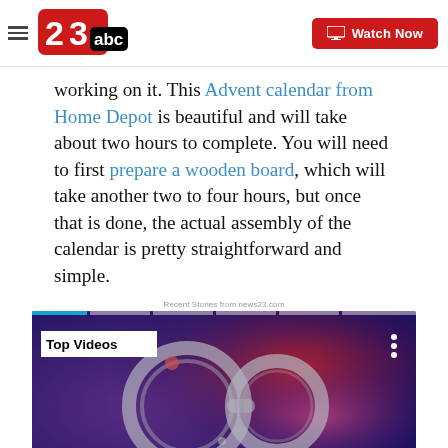23abc — Watch Now
working on it. This Advent calendar from Home Depot is beautiful and will take about two hours to complete. You will need to first prepare a wooden board, which will take another two to four hours, but once that is done, the actual assembly of the calendar is pretty straightforward and simple.
Recent Stories from news23.com
[Figure (screenshot): Video player thumbnail showing handcuffs and crime scene tape with 'Top Videos' label and progress bar at top. Text on tape reads: DO NOT CROSS CRIME SCENE DO NOT CROSS POLICE LINE—DO NOT CROSS]